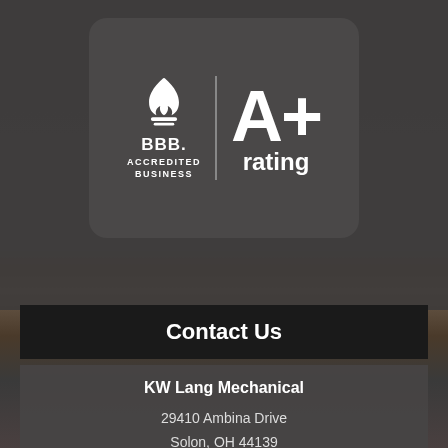[Figure (logo): BBB Accredited Business A+ Rating badge on dark rounded rectangle background]
Contact Us
KW Lang Mechanical
29410 Ambina Drive
Solon, OH 44139